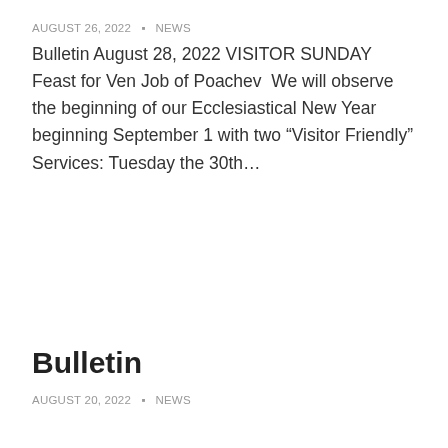AUGUST 26, 2022  NEWS
Bulletin August 28, 2022 VISITOR SUNDAY Feast for Ven Job of Poachev  We will observe the beginning of our Ecclesiastical New Year beginning September 1 with two “Visitor Friendly” Services: Tuesday the 30th…
Bulletin
AUGUST 20, 2022  NEWS